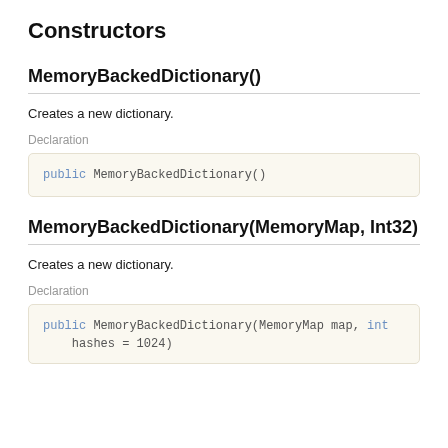Constructors
MemoryBackedDictionary()
Creates a new dictionary.
Declaration
public MemoryBackedDictionary()
MemoryBackedDictionary(MemoryMap, Int32)
Creates a new dictionary.
Declaration
public MemoryBackedDictionary(MemoryMap map, int hashes = 1024)